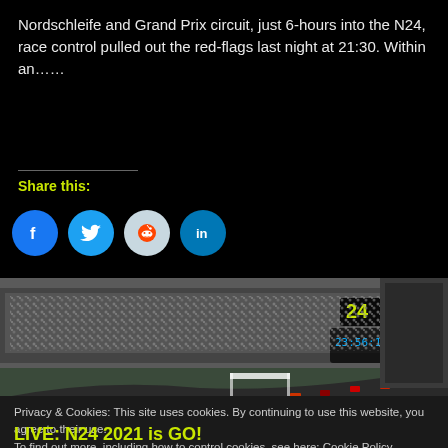Nordschleife and Grand Prix circuit, just 6-hours into the N24, race control pulled out the red-flags last night at 21:30. Within an......
Share this:
[Figure (illustration): Four social media share buttons: Facebook (blue circle with f icon), Twitter (blue circle with bird icon), Reddit (light grey circle with alien icon), LinkedIn (blue circle with 'in' icon)]
[Figure (photo): Racing circuit aerial view showing race track with multiple cars, grandstands filled with spectators, pit lane area, a timing display showing 23:56:13, and a logo showing '24' in yellow/green on dark background]
Privacy & Cookies: This site uses cookies. By continuing to use this website, you agree to their use.
To find out more, including how to control cookies, see here: Cookie Policy
LIVE: N24 2021 is GO!